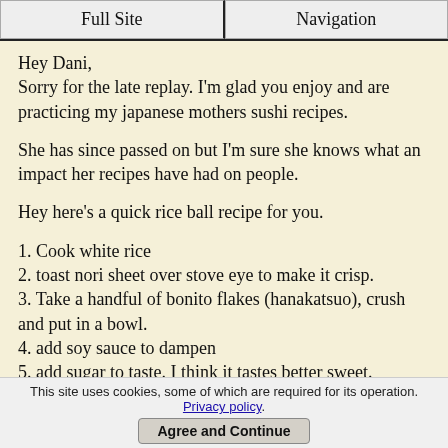Full Site | Navigation
Hey Dani,
Sorry for the late replay. I'm glad you enjoy and are practicing my japanese mothers sushi recipes.
She has since passed on but I'm sure she knows what an impact her recipes have had on people.
Hey here's a quick rice ball recipe for you.
1. Cook white rice
2. toast nori sheet over stove eye to make it crisp.
3. Take a handful of bonito flakes (hanakatsuo), crush and put in a bowl.
4. add soy sauce to dampen
5. add sugar to taste. I think it tastes better sweet.
6. moisten hands with water and shake salt on
This site uses cookies, some of which are required for its operation. Privacy policy. Agree and Continue